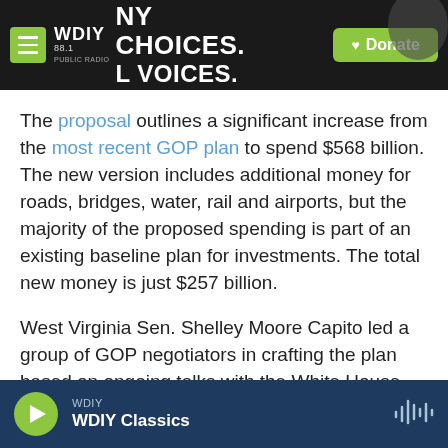WDIY 88.1 — NY CHOICES. LOCAL VOICES. | Donate
The proposal outlines a significant increase from the most recent GOP plan to spend $568 billion. The new version includes additional money for roads, bridges, water, rail and airports, but the majority of the proposed spending is part of an existing baseline plan for investments. The total new money is just $257 billion.
West Virginia Sen. Shelley Moore Capito led a group of GOP negotiators in crafting the plan based on ongoing talks with the White House.
WDIY — WDIY Classics